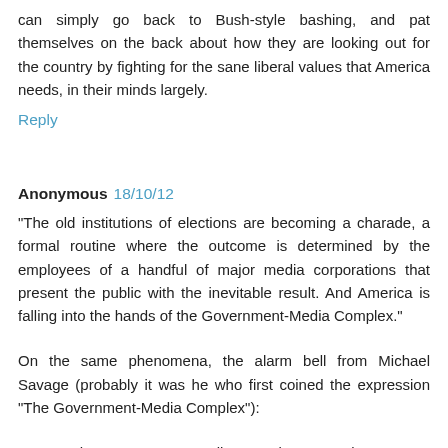can simply go back to Bush-style bashing, and pat themselves on the back about how they are looking out for the country by fighting for the sane liberal values that America needs, in their minds largely.
Reply
Anonymous 18/10/12
"The old institutions of elections are becoming a charade, a formal routine where the outcome is determined by the employees of a handful of major media corporations that present the public with the inevitable result. And America is falling into the hands of the Government-Media Complex."
On the same phenomena, the alarm bell from Michael Savage (probably it was he who first coined the expression "The Government-Media Complex"):
Beware the Government-Media Complex * Monda, May 15, 2000 * (Michael Savage Addresses the Commonwealth Club of California)